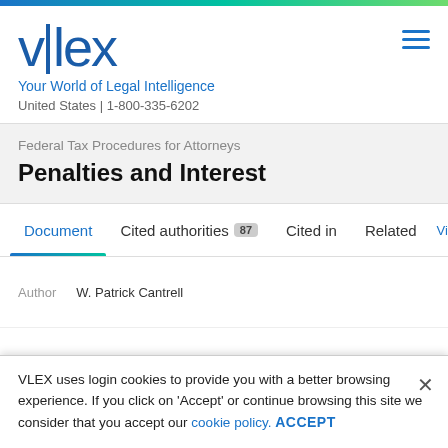[Figure (logo): vlex logo with vertical pipe separator between v and lex, in dark blue]
Your World of Legal Intelligence
United States | 1-800-335-6202
Federal Tax Procedures for Attorneys
Penalties and Interest
Document  Cited authorities 87  Cited in  Related  Vincent
Author  W. Patrick Cantrell
VLEX uses login cookies to provide you with a better browsing experience. If you click on 'Accept' or continue browsing this site we consider that you accept our cookie policy. ACCEPT